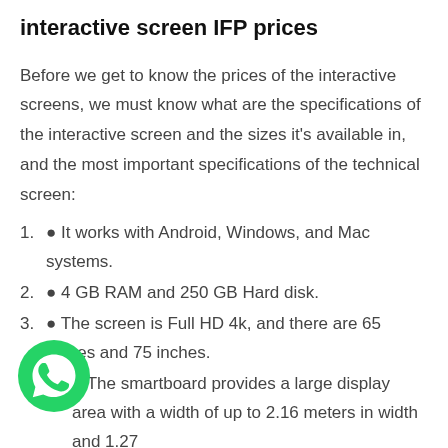interactive screen IFP prices
Before we get to know the prices of the interactive screens, we must know what are the specifications of the interactive screen and the sizes it's available in, and the most important specifications of the technical screen:
1. ● It works with Android, Windows, and Mac systems.
2. ● 4 GB RAM and 250 GB Hard disk.
3. ● The screen is Full HD 4k, and there are 65 inches and 75 inches.
4. ● The smartboard provides a large display area with a width of up to 2.16 meters in width and 1.27
[Figure (logo): WhatsApp green icon]